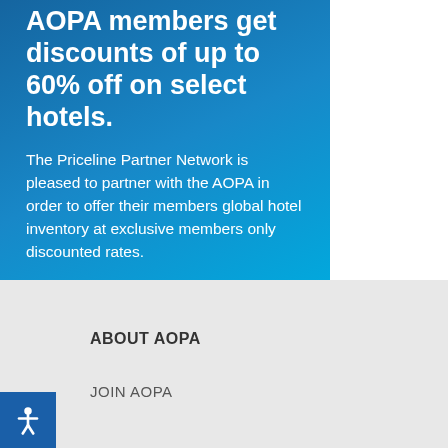AOPA members get discounts of up to 60% off on select hotels.
The Priceline Partner Network is pleased to partner with the AOPA in order to offer their members global hotel inventory at exclusive members only discounted rates.
BOOK NOW
ABOUT AOPA
JOIN AOPA